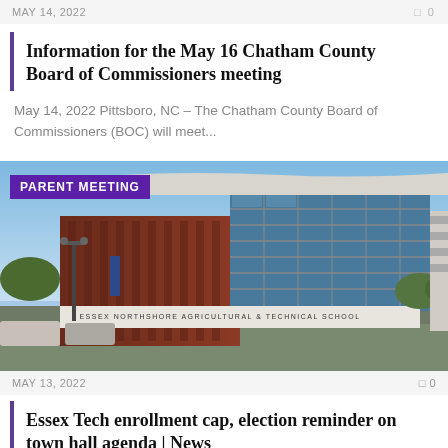MAY 14, 2022   0 0
Information for the May 16 Chatham County Board of Commissioners meeting
May 14, 2022 Pittsboro, NC – The Chatham County Board of Commissioners (BOC) will meet...
[Figure (photo): Modern brick and glass building exterior with 'ESSEX NORTHSHORE AGRICULTURAL & TECHNICAL SCHOOL' sign. A purple badge reading 'PARENT MEETING' overlays the top-left corner.]
MAY 13, 2022   0 0
Essex Tech enrollment cap, election reminder on town hall agenda | News